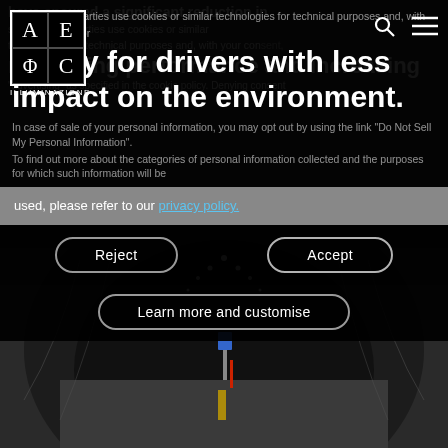[Figure (screenshot): Website screenshot showing a cookie consent overlay on top of an AE Phi C Illuminazione lighting company webpage. The background shows a tunnel illuminated with LED lights. The overlay contains consent text, Reject and Accept buttons, and a Learn more and customise button. The company logo is visible top left with a search icon and hamburger menu top right.]
have ensured a significant reduction in safety for drivers with less impact on the environment.
selected third parties use cookies or similar technologies for technical purposes and, with your consent, for measuring performance and increasing advertising as specified in the cookie policy. Denying consent may make related features unavailable. You can freely give, deny, or withdraw your consent at any time. In case of sale of your personal information, you may opt out by using the link "Do Not Sell My Personal Information". To find out more about the categories of personal information collected and the purposes for which such information will be used, please refer to our privacy policy.
Reject
Accept
Learn more and customise